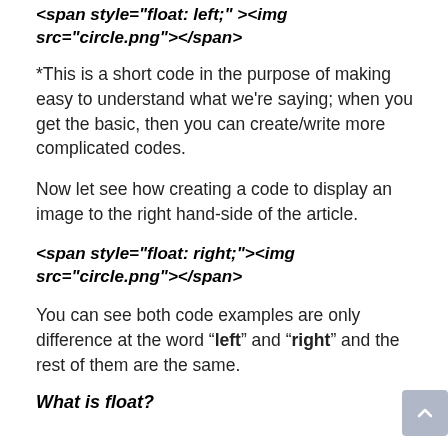<span style="float: left;"><img src="circle.png"></span>
*This is a short code in the purpose of making easy to understand what we're saying; when you get the basic, then you can create/write more complicated codes.
Now let see how creating a code to display an image to the right hand-side of the article.
<span style="float: right;"><img src="circle.png"></span>
You can see both code examples are only difference at the word “left” and “right” and the rest of them are the same.
What is float?